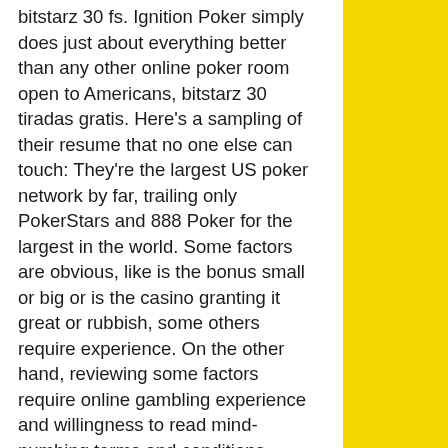bitstarz 30 fs. Ignition Poker simply does just about everything better than any other online poker room open to Americans, bitstarz 30 tiradas gratis. Here's a sampling of their resume that no one else can touch: They're the largest US poker network by far, trailing only PokerStars and 888 Poker for the largest in the world. Some factors are obvious, like is the bonus small or big or is the casino granting it great or rubbish, some others require experience. On the other hand, reviewing some factors require online gambling experience and willingness to read mind-numbing terms and conditions pages, bitstarz 30 darmowe spiny. It offers reasonable and fantastic table games and slot machines, bitstarz 30 free spins no deposit. The site is tested, and trusted games in this casino are fair enough as the numbers are generated at random. How to claim the No Deposit Bonus: Register at Rocket, bitstarz 30 zatočení zdarma. You